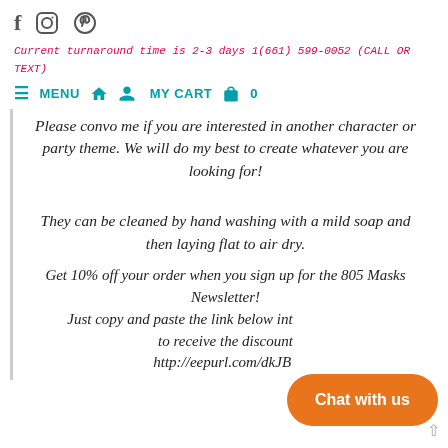Social icons: f (Facebook), Instagram circle, Pinterest circle
Current turnaround time is 2-3 days 1(661) 599-0052 (CALL OR TEXT)
≡ MENU  🏠  👤  MY CART  🧳  0
Please convo me if you are interested in another character or party theme. We will do my best to create whatever you are looking for!
They can be cleaned by hand washing with a mild soap and then laying flat to air dry.
Get 10% off your order when you sign up for the 805 Masks Newsletter! Just copy and paste the link below into your browser to receive the discount http://eepurl.com/dkJBc